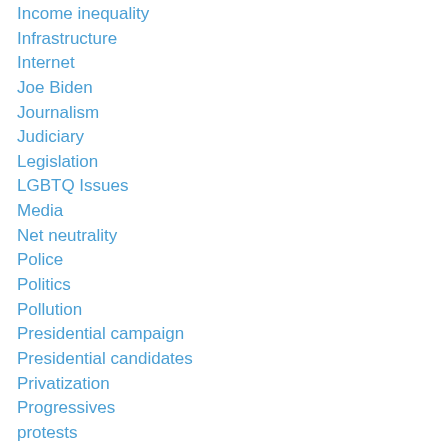Income inequality
Infrastructure
Internet
Joe Biden
Journalism
Judiciary
Legislation
LGBTQ Issues
Media
Net neutrality
Police
Politics
Pollution
Presidential campaign
Presidential candidates
Privatization
Progressives
protests
Racism
Rape